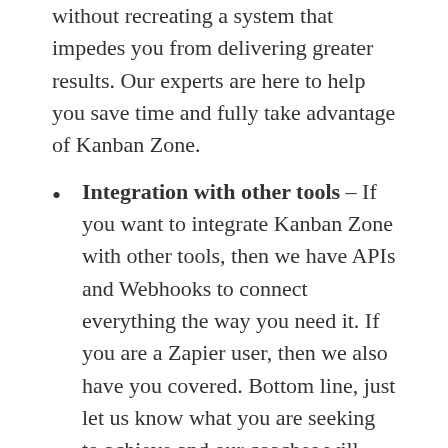without recreating a system that impedes you from delivering greater results. Our experts are here to help you save time and fully take advantage of Kanban Zone.
Integration with other tools – If you want to integrate Kanban Zone with other tools, then we have APIs and Webhooks to connect everything the way you need it. If you are a Zapier user, then we also have you covered. Bottom line, just let us know what you are seeking to achieve and our coaches will work with both your developers and ours to establish the most secure and easy to maintain integration.
If you don't see a coaching service that targets your specific needs, then we simply discuss your